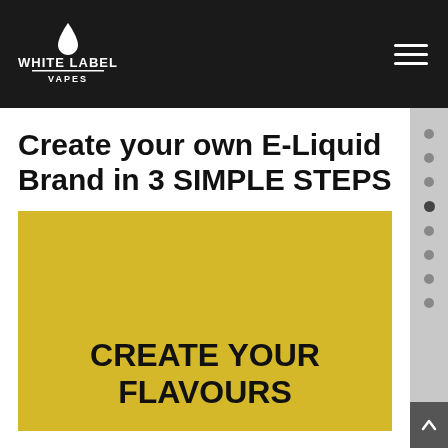[Figure (logo): White Label Vapes logo — white text on dark background with a droplet icon above]
Navigation bar with White Label Vapes logo and hamburger menu icon
Create your own E-Liquid Brand in 3 SIMPLE STEPS
[Figure (infographic): Yellow card section with bold text: CREATE YOUR FLAVOURS]